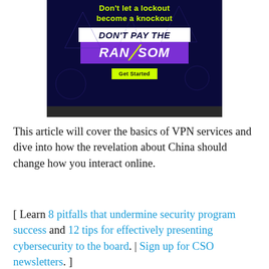[Figure (illustration): Advertisement with dark navy background. Yellow-green text reads 'Don't let a lockout become a knockout'. White box with bold italic dark text 'DON'T PAY THE'. Purple banner with white bold text 'RAN/SOM' (lightning bolt replacing slash). Yellow-green 'Get Started' button. Dark bar at bottom.]
This article will cover the basics of VPN services and dive into how the revelation about China should change how you interact online.
[ Learn 8 pitfalls that undermine security program success and 12 tips for effectively presenting cybersecurity to the board. | Sign up for CSO newsletters. ]